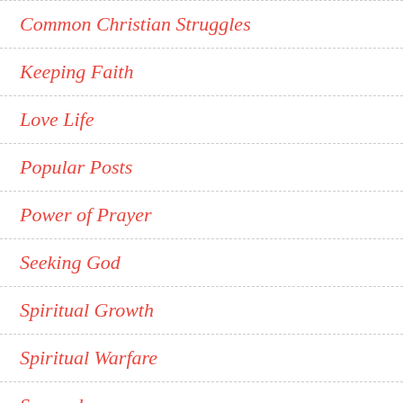Common Christian Struggles
Keeping Faith
Love Life
Popular Posts
Power of Prayer
Seeking God
Spiritual Growth
Spiritual Warfare
Surrender